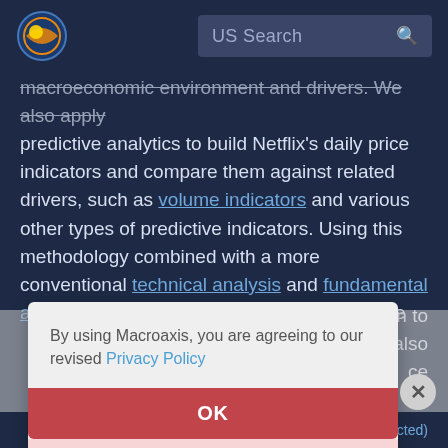US Search
macroeconomic environment and drivers. We also apply predictive analytics to build Netflix's daily price indicators and compare them against related drivers, such as volume indicators and various other types of predictive indicators. Using this methodology combined with a more conventional technical analysis and fundamental analysis, we attempt to find the most accurate... n to also ce is
By using Macroaxis, you are agreeing to our revised Privacy Policy
OK
2022 (projected)